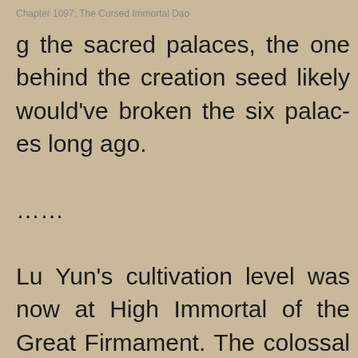Chapter 1097: The Cursed Immortal Dao
g the sacred palaces, the one behind the creation seed likely would've broken the six palaces long ago.
……
Lu Yun's cultivation level was now at High Immortal of the Great Firmament. The colossal power that his dao fruit had collected flooded into his body, propelling his cultivation upwards.
Golden Immortal of Grand Unity, Arcane Immortal of the Nine Heavens, and Supreme Imm